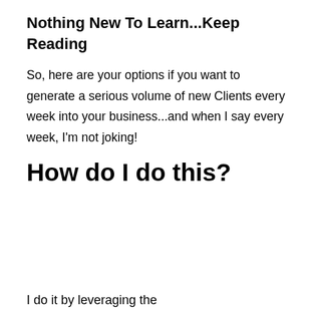Nothing New To Learn...Keep Reading
So, here are your options if you want to generate a serious volume of new Clients every week into your business...and when I say every week, I'm not joking!
How do I do this?
I do it by leveraging the